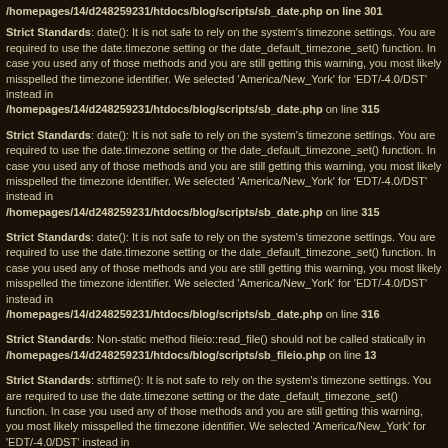/homepages/14/d248259231/htdocs/blog/scripts/sb_date.php on line 301
Strict Standards: date(): It is not safe to rely on the system's timezone settings. You are required to use the date.timezone setting or the date_default_timezone_set() function. In case you used any of those methods and you are still getting this warning, you most likely misspelled the timezone identifier. We selected 'America/New_York' for 'EDT/-4.0/DST' instead in /homepages/14/d248259231/htdocs/blog/scripts/sb_date.php on line 315
Strict Standards: date(): It is not safe to rely on the system's timezone settings. You are required to use the date.timezone setting or the date_default_timezone_set() function. In case you used any of those methods and you are still getting this warning, you most likely misspelled the timezone identifier. We selected 'America/New_York' for 'EDT/-4.0/DST' instead in /homepages/14/d248259231/htdocs/blog/scripts/sb_date.php on line 315
Strict Standards: date(): It is not safe to rely on the system's timezone settings. You are required to use the date.timezone setting or the date_default_timezone_set() function. In case you used any of those methods and you are still getting this warning, you most likely misspelled the timezone identifier. We selected 'America/New_York' for 'EDT/-4.0/DST' instead in /homepages/14/d248259231/htdocs/blog/scripts/sb_date.php on line 316
Strict Standards: Non-static method fileio::read_file() should not be called statically in /homepages/14/d248259231/htdocs/blog/scripts/sb_fileio.php on line 13
Strict Standards: strftime(): It is not safe to rely on the system's timezone settings. You are required to use the date.timezone setting or the date_default_timezone_set() function. In case you used any of those methods and you are still getting this warning, you most likely misspelled the timezone identifier. We selected 'America/New_York' for 'EDT/-4.0/DST' instead in /homepages/14/d248259231/htdocs/blog/scripts/sb_date.php on line 364
Strict Standards: strftime(): It is not safe to rely on the system's timezone settings. You are required to use the date.timezone setting or the date_default_timezone_set() function. In case you used any of those methods and you are still getting this warning, you most likely misspelled the timezone identifier. We selected 'America/New_York' for 'EDT/-4.0/DST' instead in /homepages/14/d248259231/htdocs/blog/scripts/sb_date.php on line 367
Strict Standards: date(): It is not safe to rely on the system's timezone settings. You are required to use the date.timezone setting or the date_default_timezone_set() function. In case you used any of those methods and you are still getting this warning, you most likely misspelled the timezone identifier.